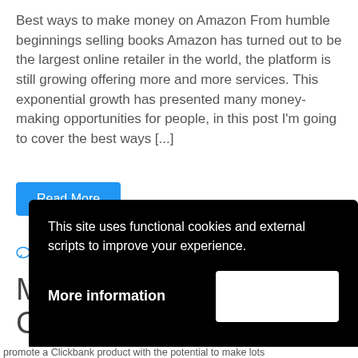Best ways to make money on Amazon From humble beginnings selling books Amazon has turned out to be the largest online retailer in the world, the platform is still growing offering more and more services. This exponential growth has presented many money-making opportunities for people, in this post I'm going to cover the best ways [...]
Read More
Leave a Comment
Make money as Clickbank
This site uses functional cookies and external scripts to improve your experience.
More information